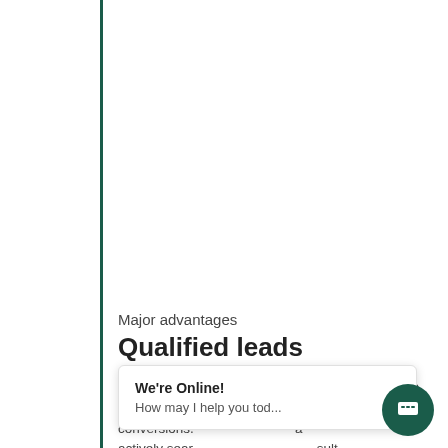Major advantages
Qualified leads
A PPC campaign, done effectively, boosts traffic to your website and drives higher conversions. ... are actively searching ... results ... PPC ...